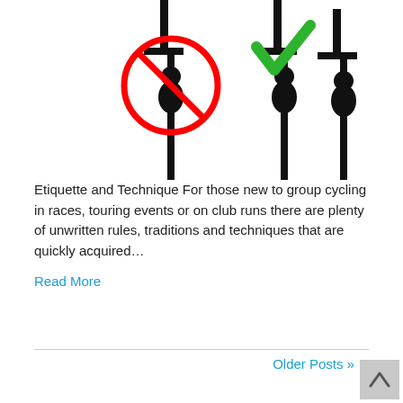[Figure (illustration): Cycling group etiquette illustration showing three cyclists on bikes. The left cyclist has a red prohibition circle (no symbol) over them indicating incorrect behavior. The center and right cyclists have a green checkmark above them indicating correct behavior.]
Etiquette and Technique For those new to group cycling in races, touring events or on club runs there are plenty of unwritten rules, traditions and techniques that are quickly acquired…
Read More
Older Posts »